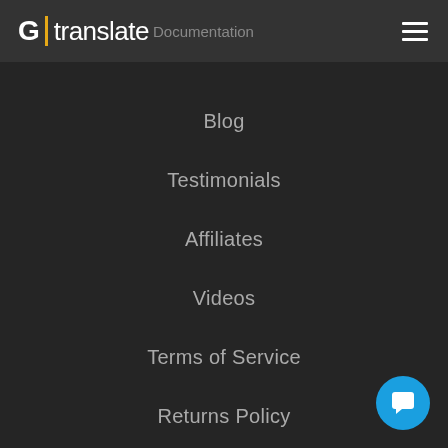G | translate Documentation
Blog
Testimonials
Affiliates
Videos
Terms of Service
Returns Policy
Sitemap
[Figure (other): Blue circular chat/support button with speech bubble icon in bottom right corner]